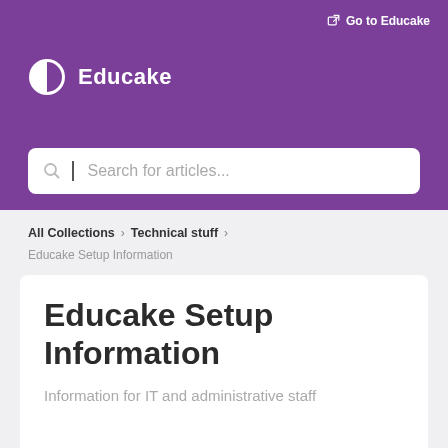Go to Educake
[Figure (logo): Educake logo: white pie-chart icon with text 'Educake' in white on purple background]
[Figure (screenshot): Search bar with placeholder text 'Search for articles...' and search icon]
All Collections > Technical stuff >
Educake Setup Information
Educake Setup Information
Information for IT and administrative staff